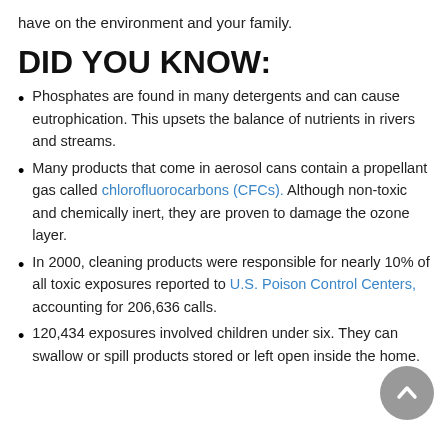have on the environment and your family.
DID YOU KNOW:
Phosphates are found in many detergents and can cause eutrophication. This upsets the balance of nutrients in rivers and streams.
Many products that come in aerosol cans contain a propellant gas called chlorofluorocarbons (CFCs). Although non-toxic and chemically inert, they are proven to damage the ozone layer.
In 2000, cleaning products were responsible for nearly 10% of all toxic exposures reported to U.S. Poison Control Centers, accounting for 206,636 calls.
120,434 exposures involved children under six. They can swallow or spill products stored or left open inside the home.